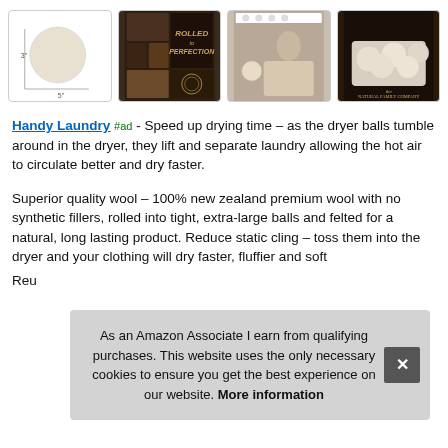[Figure (photo): Product image strip showing four thumbnails: (1) size diagram of wool dryer ball with 3in and 5in labels, (2) dark collage with 'Rolled to Perfection' text, (3) woman on bed with dryer balls, (4) dryer balls in white tray on dark background with 'The Natural Family Company' branding]
Handy Laundry #ad - Speed up drying time – as the dryer balls tumble around in the dryer, they lift and separate laundry allowing the hot air to circulate better and dry faster.
Superior quality wool – 100% new zealand premium wool with no synthetic fillers, rolled into tight, extra-large balls and felted for a natural, long lasting product. Reduce static cling – toss them into the dryer and your clothing will dry faster, fluffier and soft
As an Amazon Associate I earn from qualifying purchases. This website uses the only necessary cookies to ensure you get the best experience on our website. More information
Reu